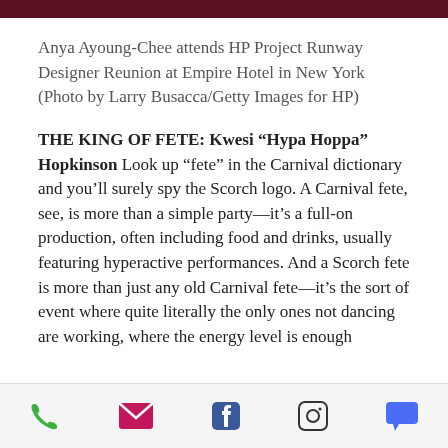[Figure (photo): Dark maroon/red decorative banner image at top of page]
Anya Ayoung-Chee attends HP Project Runway Designer Reunion at Empire Hotel in New York (Photo by Larry Busacca/Getty Images for HP)
THE KING OF FETE: Kwesi “Hypa Hoppa” Hopkinson Look up “fete” in the Carnival dictionary and you’ll surely spy the Scorch logo. A Carnival fete, see, is more than a simple party—it’s a full-on production, often including food and drinks, usually featuring hyperactive performances. And a Scorch fete is more than just any old Carnival fete—it’s the sort of event where quite literally the only ones not dancing are working, where the energy level is enough
[Figure (infographic): Footer navigation bar with phone, email, Facebook, Instagram, and chat icons]